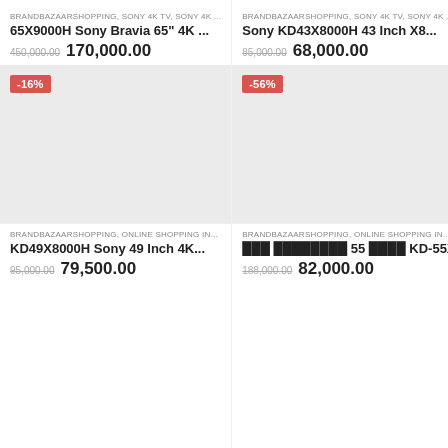BRANDBAZAARSHOPPING, SONY 4K TV, SONY 4K ...
65X9000H Sony Bravia 65" 4K ...
450,000.00  170,000.00
[Figure (other): Product image placeholder (light gray box) with -16% discount badge]
BRANDBAZAARSHOPPING, SONY 4K TV, SONY 4K ...
Sony KD43X8000H 43 Inch X8...
85,000.00  68,000.00
[Figure (other): Product image placeholder (light gray box) with -56% discount badge]
BRANDBAZAARSHOPPING, ONLINE SHOPPING IN...
KD49X8000H Sony 49 Inch 4K...
95,000.00  79,500.00
BRANDBAZAARSHOPPING, ONLINE SHOPPING IN...
███ ████████ 55 ████ KD-55X800...
188,000.00  82,000.00